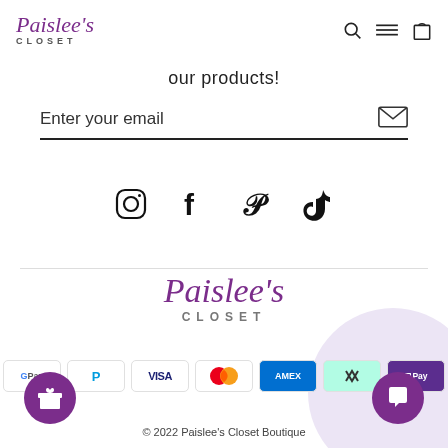[Figure (logo): Paislee's Closet logo in top header - script purple text with CLOSET in uppercase below]
[Figure (illustration): Search, hamburger menu, and shopping bag icons in header]
our products!
[Figure (illustration): Email input field with envelope icon and underline]
[Figure (illustration): Social media icons: Instagram, Facebook, Pinterest, TikTok]
[Figure (logo): Paislee's Closet footer logo - larger script purple text]
[Figure (illustration): Payment method badges: Google Pay, PayPal, Visa, Mastercard, Amex, Afterpay, Shop Pay]
[Figure (illustration): Purple gift button (bottom left) and purple chat button (bottom right)]
© 2022 Paislee's Closet Boutique